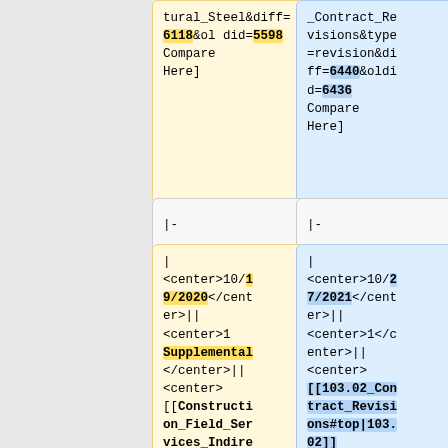tural_Steel&diff=6118&oldid=5598 Compare Here]
_Contract_Revisions&type=revision&diff=6440&oldid=6436 Compare Here]
|-
|-
| <center>10/19/2020</center>|| <center>1 Supplemental</center>|| <center>[[Construction_Field_Services_Indirect_Testing_C
| <center>10/27/2021</center>|| <center>1</center>|| <center>[[103.02_Contract_Revisions#top|103.02]]</center>||U